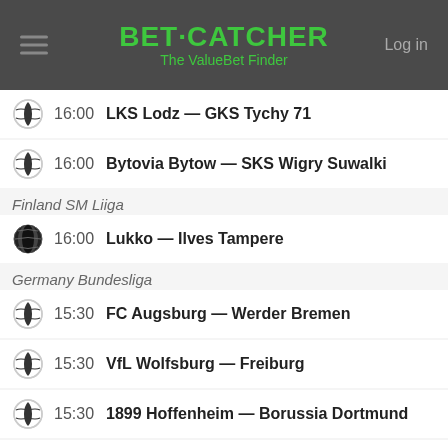BET·CATCHER The ValueBet Finder
16:00 LKS Lodz — GKS Tychy 71
16:00 Bytovia Bytow — SKS Wigry Suwalki
Finland SM Liiga
16:00 Lukko — Ilves Tampere
Germany Bundesliga
15:30 FC Augsburg — Werder Bremen
15:30 VfL Wolfsburg — Freiburg
15:30 1899 Hoffenheim — Borussia Dortmund
15:30 FC Nurnberg — Hannover 96
15:30 Hertha BSC — Borussia Monchengladbach
Poland Ekstraklasa
15:30 Cracovia — Wisla Plock
Russia Premier League